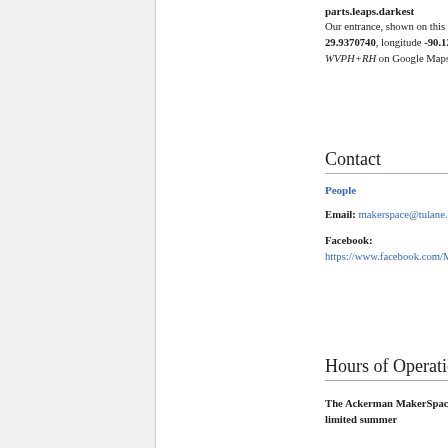parts.leaps.darkest
Our entrance, shown on this Google Map, is at latitude 29.9370740, longitude -90.1210170 or you can search for WVPH+RH on Google Maps.
Contact
People
Email: makerspace@tulane.edu
Facebook: https://www.facebook.com/MakerSpace.Tulane/
Hours of Operation
The Ackerman MakerSpace will continue operating on limited summer